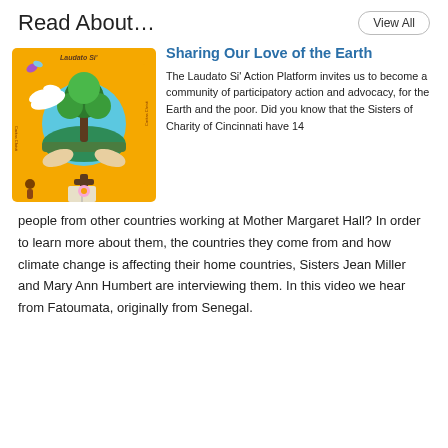Read About…
[Figure (illustration): Laudato Si colorful illustrated poster featuring a tree on Earth, white dove, hands raised, cross, butterflies, and decorative border with text 'Laudato Si']
Sharing Our Love of the Earth
The Laudato Si' Action Platform invites us to become a community of participatory action and advocacy, for the Earth and the poor. Did you know that the Sisters of Charity of Cincinnati have 14 people from other countries working at Mother Margaret Hall? In order to learn more about them, the countries they come from and how climate change is affecting their home countries, Sisters Jean Miller and Mary Ann Humbert are interviewing them. In this video we hear from Fatoumata, originally from Senegal.